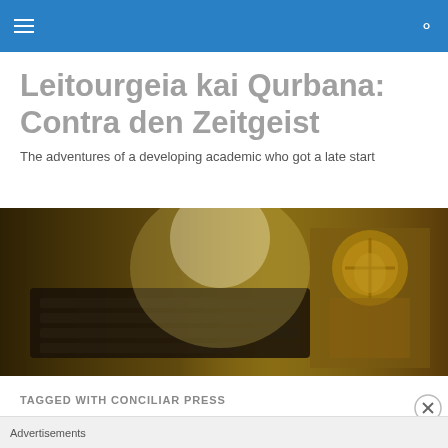Navigation bar with hamburger menu and search icon
Leitourgeia kai Qurbana: Contra den Zeitgeist
The adventures of a developing academic who got a late start
[Figure (photo): Sepia-toned hero image showing a laptop keyboard overlaid with an Orthodox icon of Christ]
TAGGED WITH CONCILIAR PRESS
Review: Sweet Song: A Story
Advertisements